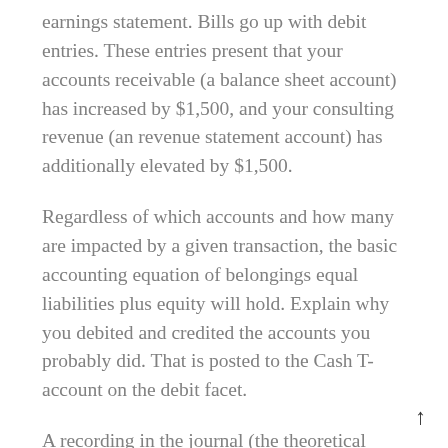earnings statement. Bills go up with debit entries. These entries present that your accounts receivable (a balance sheet account) has increased by $1,500, and your consulting revenue (an revenue statement account) has additionally elevated by $1,500.
Regardless of which accounts and how many are impacted by a given transaction, the basic accounting equation of belongings equal liabilities plus equity will hold. Explain why you debited and credited the accounts you probably did. That is posted to the Cash T-account on the debit facet.
A recording in the journal (the theoretical ebook of first entry) can also be referred to as a journal (or a journal entry). The steadiness sheet is an actual-life instance of